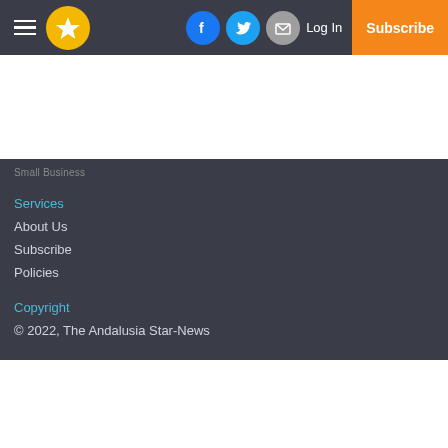Navigation bar with hamburger menu, star logo, Facebook, Twitter, Email icons, Log In, Subscribe
Small Business
Services
About Us
Subscribe
Policies
Copyright
© 2022, The Andalusia Star-News